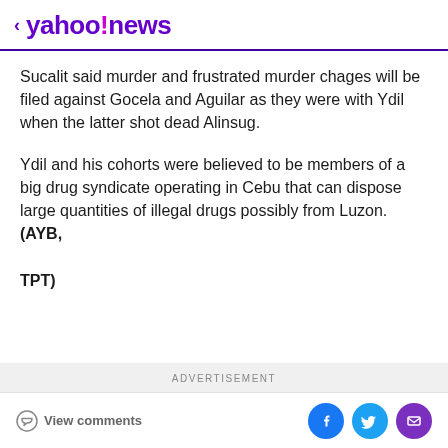< yahoo!news
Sucalit said murder and frustrated murder chages will be filed against Gocela and Aguilar as they were with Ydil when the latter shot dead Alinsug.
Ydil and his cohorts were believed to be members of a big drug syndicate operating in Cebu that can dispose large quantities of illegal drugs possibly from Luzon. (AYB,

TPT)
ADVERTISEMENT | View comments